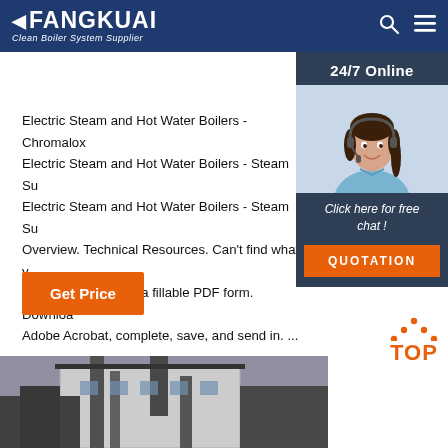FANGKUAI - Clean Boiler System Supplier
[Figure (screenshot): Sidebar widget showing 24/7 Online support with customer service representative photo, 'Click here for free chat!' text and QUOTATION orange button]
Electric Steam and Hot Water Boilers - Chromalox Electric Steam and Hot Water Boilers - Steam Su Electric Steam and Hot Water Boilers - Steam Su Overview. Technical Resources. Can't find what y Fillable PDF. This is a fillable PDF form. Downloa Adobe Acrobat, complete, save, and send in. ...
[Figure (other): Orange 'Get Price' button]
[Figure (other): Orange TOP button with upward arrow dots indicating scroll to top]
[Figure (photo): Industrial boiler equipment photograph at bottom of page, showing pipes and industrial machinery in black and white tone]